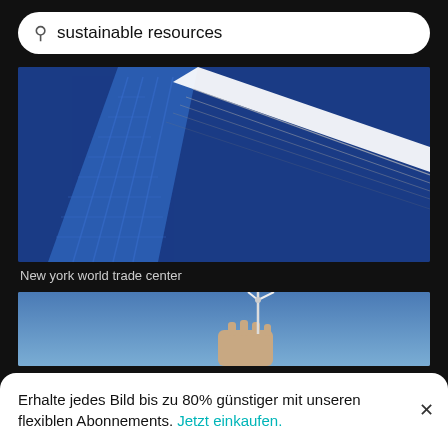sustainable resources
[Figure (photo): Upward view of glass skyscraper (New York World Trade Center) against a deep blue sky, with a diagonal white structural element crossing the frame.]
New york world trade center
[Figure (photo): A hand holding a small wind turbine model against a clear blue sky.]
Erhalte jedes Bild bis zu 80% günstiger mit unseren flexiblen Abonnements. Jetzt einkaufen.